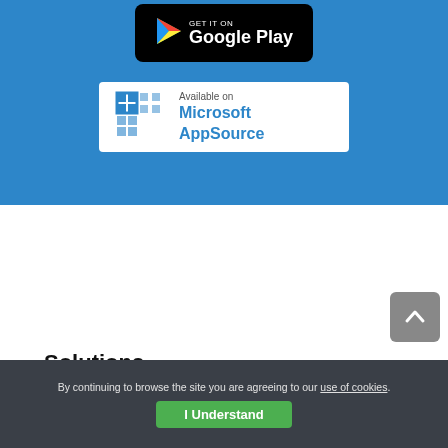[Figure (logo): Google Play badge — black rounded rectangle with colorful play icon and 'Google Play' text in white]
[Figure (logo): Microsoft AppSource badge — white rectangle with Microsoft grid logo and 'Available on Microsoft AppSource' text]
[Figure (other): Gray scroll-to-top button with upward chevron arrow]
Solutions
GAL Sync
By continuing to browse the site you are agreeing to our use of cookies.
I Understand